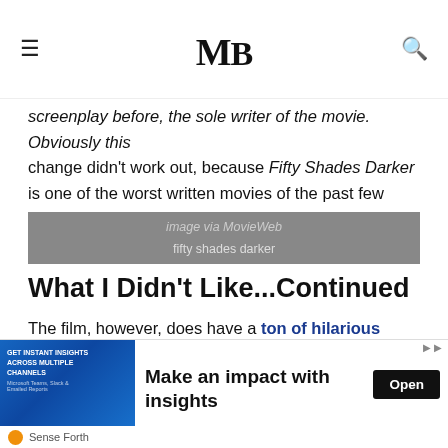MB (Movie site logo)
screenplay before, the sole writer of the movie. Obviously this change didn't work out, because Fifty Shades Darker is one of the worst written movies of the past few years.
[Figure (photo): Image placeholder with 'image via MovieWeb' watermark and text 'fifty shades darker']
What I Didn't Like...Continued
The film, however, does have a ton of hilarious moments, all of which were not intended.  Dakota Johnson and Jamie Dornan regularly have to say laughably bad dialogue to
Privacy & Cookies: This site uses cookies. By continuing to use this site, you agree to their use.
nd out more, including how to control cookies, see here: Cookie
[Figure (screenshot): Advertisement banner: 'Make an impact with insights' with Open button. Sense Forth branding.]